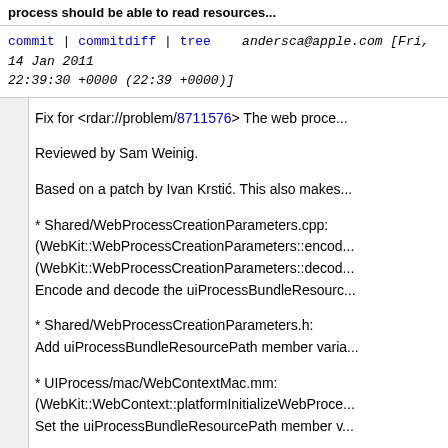process should be able to read resources...
commit | commitdiff | tree    andersca@apple.com [Fri, 14 Jan 2011 22:39:30 +0000 (22:39 +0000)]
Fix for <rdar://problem/8711576> The web proce...
Reviewed by Sam Weinig.
Based on a patch by Ivan Krstić. This also makes...
* Shared/WebProcessCreationParameters.cpp:
(WebKit::WebProcessCreationParameters::encode...
(WebKit::WebProcessCreationParameters::decode...
Encode and decode the uiProcessBundleResourc...
* Shared/WebProcessCreationParameters.h:
Add uiProcessBundleResourcePath member varia...
* UIProcess/mac/WebContextMac.mm:
(WebKit::WebContext::platformInitializeWebProce...
Set the uiProcessBundleResourcePath member v...
* WebProcess/com.apple.WebProcess.sb:
Allow read-
only access to UI_PROCESS_BUNDLE_RESOU...
* WebProcess/mac/WebProcessMac.mm:
(WebKit::initializeSandbox):
When initializing the sandbox, pass UI_PROCESS...